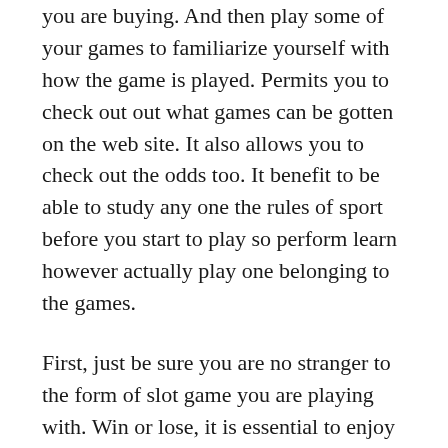you are buying. And then play some of your games to familiarize yourself with how the game is played. Permits you to check out out what games can be gotten on the web site. It also allows you to check out the odds too. It benefit to be able to study any one the rules of sport before you start to play so perform learn however actually play one belonging to the games.
First, just be sure you are no stranger to the form of slot game you are playing with. Win or lose, it is essential to enjoy every minute among the game. Different slot games have different rules. For instance, there are both progressive and non-progressive games.
So there you have it, a summary of 10 that is popular online slot generation devices. Whether you play slot machines online or possibly in Vegas, make sure